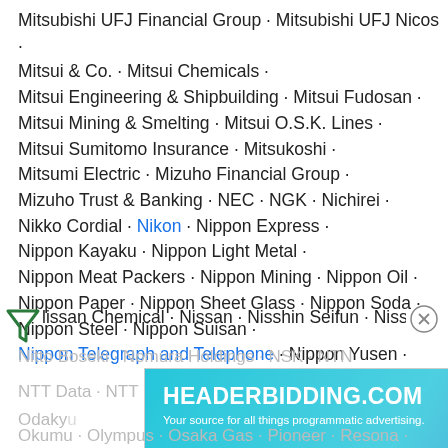Mitsubishi UFJ Financial Group · Mitsubishi UFJ Nicos · Mitsui & Co. · Mitsui Chemicals ·
Mitsui Engineering & Shipbuilding · Mitsui Fudosan · Mitsui Mining & Smelting · Mitsui O.S.K. Lines ·
Mitsui Sumitomo Insurance · Mitsukoshi · Mitsumi Electric · Mizuho Financial Group ·
Mizuho Trust & Banking · NEC · NGK · Nichirei · Nikko Cordial · Nikon · Nippon Express ·
Nippon Kayaku · Nippon Light Metal · Nippon Meat Packers · Nippon Mining · Nippon Oil ·
Nippon Paper · Nippon Sheet Glass · Nippon Soda · Nippon Steel · Nippon Suisan ·
Nippon Telegraph and Telephone · Nippon Yusen · Nissan Chemical · Nissan · Nisshin Seifun · Nisshinbo ·
Nitto Boseki · Nomura Holdings · NSK · NTN
NTT Data · NTT Do Co Mo · Obayashi ·
Odakyu · ...
Okuma · Olympus · Osaka Gas · Pioneer · Resona · Ricoh · Sanyo · Sapporo Breweries · Secom ·
[Figure (screenshot): HeaderBidding.com advertisement banner: 'Your source for all things programmatic advertising.' on a teal/blue gradient background with circuit board pattern]